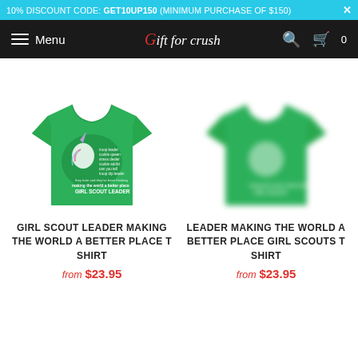10% DISCOUNT CODE: GET10UP150 (MINIMUM PURCHASE OF $150)
Menu | Gift for crush | Search | Cart 0
[Figure (photo): Green t-shirt with Girl Scout Leader unicorn graphic and text reading 'making the world a better place GIRL SCOUT LEADER']
GIRL SCOUT LEADER MAKING THE WORLD A BETTER PLACE T SHIRT
from $23.95
[Figure (photo): Green t-shirt back view, blurred, showing a faint logo]
LEADER MAKING THE WORLD A BETTER PLACE GIRL SCOUTS T SHIRT
from $23.95
[Figure (photo): Bottom row: two partially visible green t-shirts, cropped]
[Figure (photo): Bottom row: second partially visible green t-shirt, cropped]